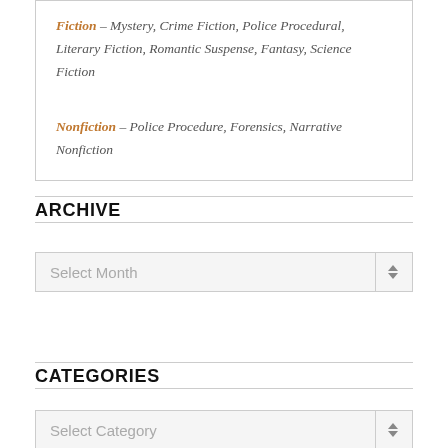Fiction – Mystery, Crime Fiction, Police Procedural, Literary Fiction, Romantic Suspense, Fantasy, Science Fiction

Nonfiction – Police Procedure, Forensics, Narrative Nonfiction
ARCHIVE
Select Month
CATEGORIES
Select Category